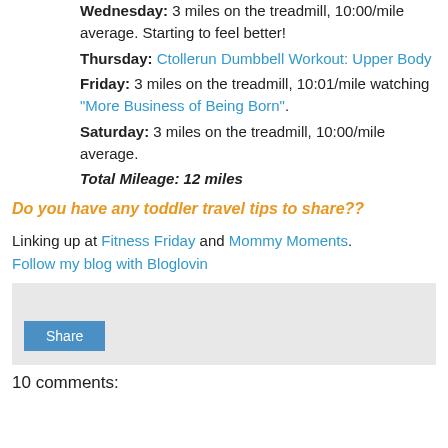Wednesday: 3 miles on the treadmill, 10:00/mile average. Starting to feel better!
Thursday: Ctollerun Dumbbell Workout: Upper Body
Friday: 3 miles on the treadmill, 10:01/mile watching "More Business of Being Born".
Saturday: 3 miles on the treadmill, 10:00/mile average.
Total Mileage: 12 miles
Do you have any toddler travel tips to share??
Linking up at Fitness Friday and Mommy Moments. Follow my blog with Bloglovin
[Figure (other): Share button widget area with gray background and blue Share button]
10 comments: